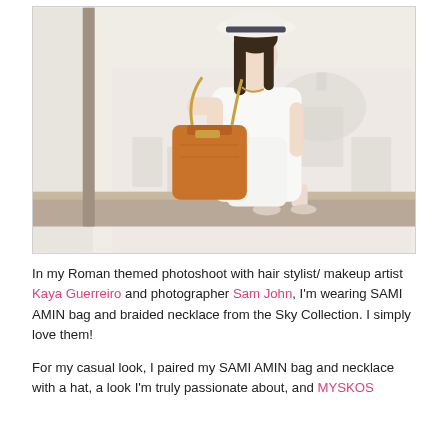[Figure (photo): A woman wearing a white dress and white brimmed hat with a dark band, carrying a large brown leather tote bag (SAMI AMIN), sitting on a ledge or windowsill with a cityscape including a cathedral dome visible through a large window behind her.]
In my Roman themed photoshoot with hair stylist/ makeup artist Kaya Guerreiro and photographer Sam John, I'm wearing SAMI AMIN bag and braided necklace from the Sky Collection. I simply love them!
For my casual look, I paired my SAMI AMIN bag and necklace with a hat, a look I'm truly passionate about, and MYSKOS